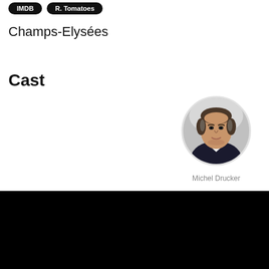[Figure (other): Two dark pill-shaped buttons labeled IMDB and R. Tomatoes]
Champs-Elysées
Cast
[Figure (photo): Circular portrait photo of Michel Drucker, a man with dark hair wearing a dark jacket]
Michel Drucker
[Figure (other): Black rectangle at the bottom of the page]